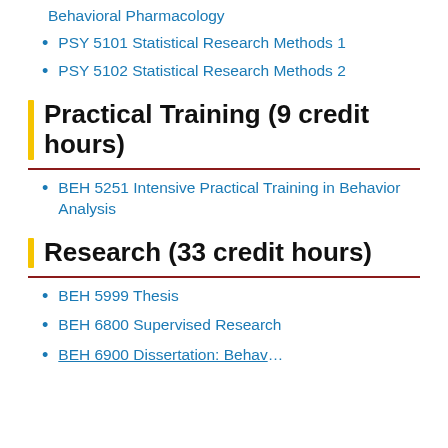Behavioral Pharmacology
PSY 5101 Statistical Research Methods 1
PSY 5102 Statistical Research Methods 2
Practical Training (9 credit hours)
BEH 5251 Intensive Practical Training in Behavior Analysis
Research (33 credit hours)
BEH 5999 Thesis
BEH 6800 Supervised Research
BEH 6900 Dissertation: Behavioral…